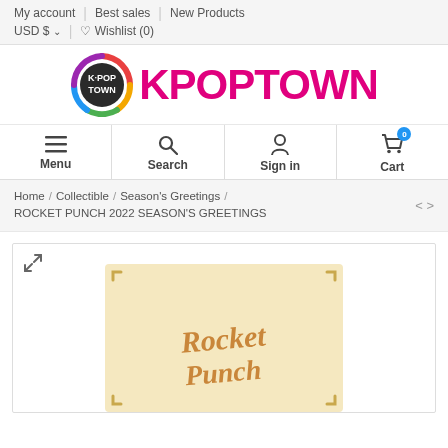My account | Best sales | New Products
USD $ ∨ | ♡ Wishlist (0)
[Figure (logo): KPOPTOWN logo with K-POP TOWN circular emblem and KPOPTOWN text in pink]
Menu | Search | Sign in | Cart (0)
Home / Collectible / Season's Greetings / ROCKET PUNCH 2022 SEASON'S GREETINGS
[Figure (photo): Rocket Punch 2022 Season's Greetings product image with golden/cream colored card showing Rocket Punch logo text]